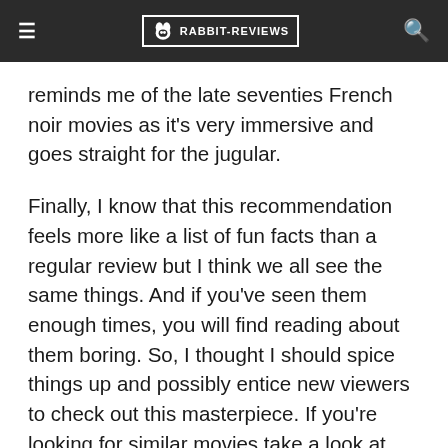≡  RABBIT-REVIEWS  🔍
reminds me of the late seventies French noir movies as it's very immersive and goes straight for the jugular.
Finally, I know that this recommendation feels more like a list of fun facts than a regular review but I think we all see the same things. And if you've seen them enough times, you will find reading about them boring. So, I thought I should spice things up and possibly entice new viewers to check out this masterpiece. If you're looking for similar movies take a look at our Rabbit Reviews selection of Heist Movies.